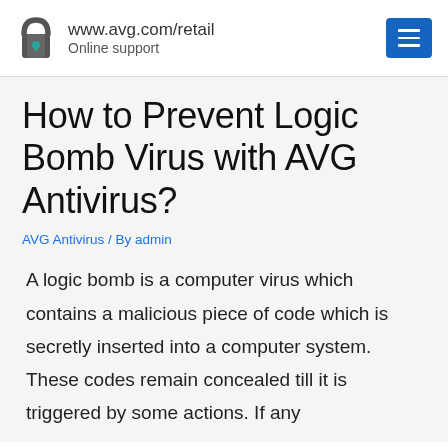www.avg.com/retail Online support
How to Prevent Logic Bomb Virus with AVG Antivirus?
AVG Antivirus / By admin
A logic bomb is a computer virus which contains a malicious piece of code which is secretly inserted into a computer system. These codes remain concealed till it is triggered by some actions. If any